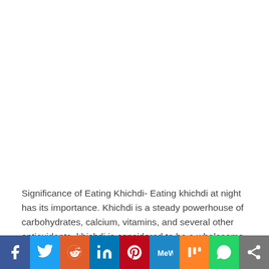[Figure (other): White blank area at the top of the page (image placeholder)]
Significance of Eating Khichdi- Eating khichdi at night has its importance. Khichdi is a steady powerhouse of carbohydrates, calcium, vitamins, and several other antioxidants, khichdi is considered to be a wholesome meal that is also comforting. This light meal helps in comforting your stomach after the heavy morning meal of
[Figure (infographic): Social sharing bar with icons for Facebook, Twitter, Reddit, LinkedIn, Pinterest, MeWe, Mix, WhatsApp, and a share button]